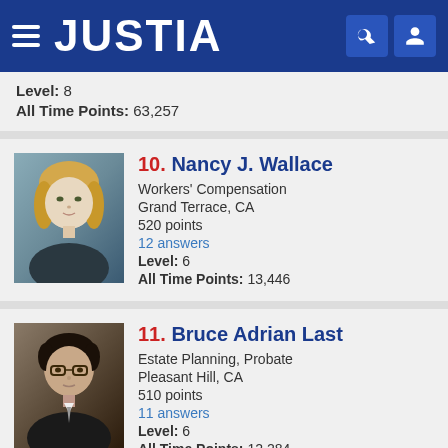JUSTIA
Level: 8
All Time Points: 63,257
10. Nancy J. Wallace
Workers' Compensation
Grand Terrace, CA
520 points
12 answers
Level: 6
All Time Points: 13,446
11. Bruce Adrian Last
Estate Planning, Probate
Pleasant Hill, CA
510 points
11 answers
Level: 6
All Time Points: 12,284